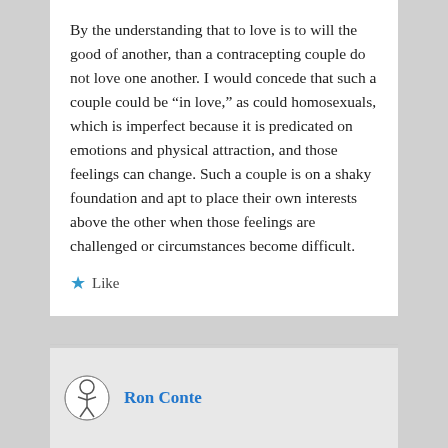By the understanding that to love is to will the good of another, than a contracepting couple do not love one another. I would concede that such a couple could be “in love,” as could homosexuals, which is imperfect because it is predicated on emotions and physical attraction, and those feelings can change. Such a couple is on a shaky foundation and apt to place their own interests above the other when those feelings are challenged or circumstances become difficult.
★ Like
Ron Conte